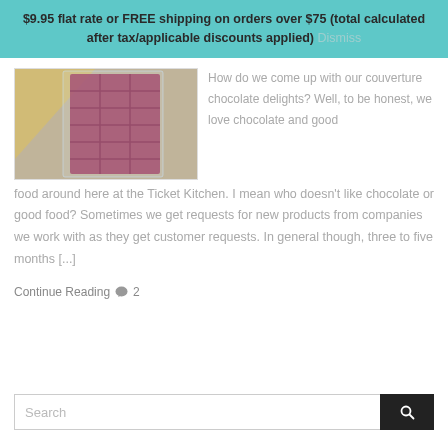$9.95 flat rate or FREE shipping on orders over $75 (total calculated after tax/applicable discounts applied) Dismiss
[Figure (photo): Photo of chocolate bars in plastic packaging on a grey fabric background]
How do we come up with our couverture chocolate delights? Well, to be honest, we love chocolate and good food around here at the Ticket Kitchen. I mean who doesn't like chocolate or good food? Sometimes we get requests for new products from companies we work with as they get customer requests. In general though, three to five months [...]
Continue Reading 💬 2